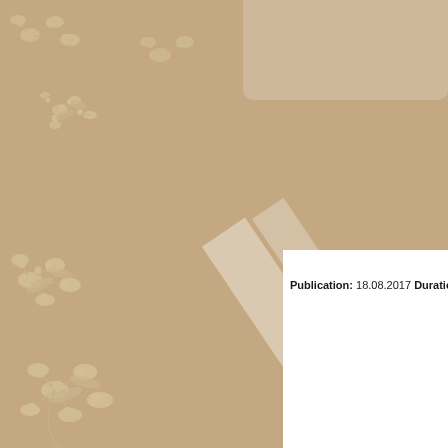[Figure (illustration): Decorative page background with warm tan/beige color and floral botanical pattern (small flower clusters and branches). A white document page is visible in the lower-right portion, partially overlapping the background. Diagonal white tape strips are visible at the upper-left edge of the white page. A lighter beige rounded rectangle is partially visible at the top-center.]
Publication: 18.08.2017 Duration: